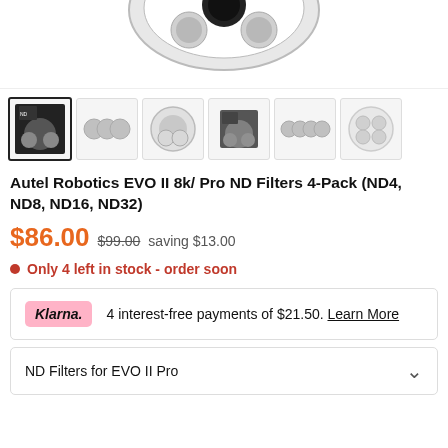[Figure (photo): Product image of Autel Robotics EVO II 8k Pro ND Filters – partially visible drone filter case from above]
[Figure (photo): Row of 6 product thumbnail images showing various views of the ND filter pack]
Autel Robotics EVO II 8k/ Pro ND Filters 4-Pack (ND4, ND8, ND16, ND32)
$86.00  $99.00 saving $13.00
Only 4 left in stock - order soon
4 interest-free payments of $21.50. Learn More
ND Filters for EVO II Pro